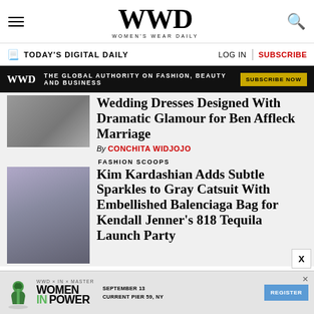WWD — Women's Wear Daily
TODAY'S DIGITAL DAILY   LOG IN   SUBSCRIBE
WWD — THE GLOBAL AUTHORITY ON FASHION, BEAUTY AND BUSINESS — SUBSCRIBE NOW
Wedding Dresses Designed With Dramatic Glamour for Ben Affleck Marriage
By CONCHITA WIDJOJO
FASHION SCOOPS
Kim Kardashian Adds Subtle Sparkles to Gray Catsuit With Embellished Balenciaga Bag for Kendall Jenner's 818 Tequila Launch Party
[Figure (photo): Bottom advertisement banner for WWD Women In Power event, September 13, Current Pier 59, NY with Register button]